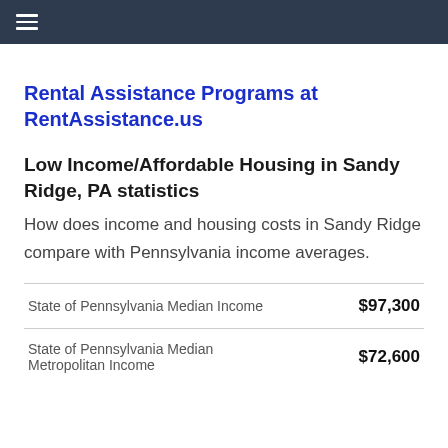≡
Rental Assistance Programs at RentAssistance.us
Low Income/Affordable Housing in Sandy Ridge, PA statistics
How does income and housing costs in Sandy Ridge compare with Pennsylvania income averages.
|  |  |
| --- | --- |
| State of Pennsylvania Median Income | $97,300 |
| State of Pennsylvania Median Metropolitan Income | $72,600 |